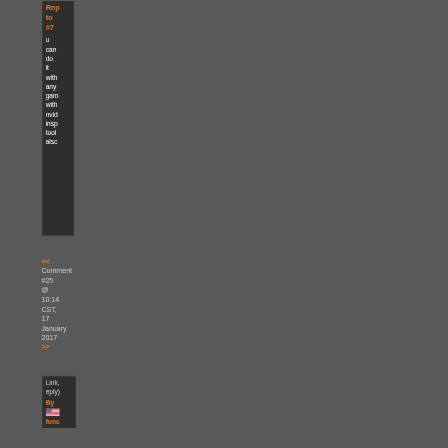Reply to #7
u can do it with any game with nvid insp tool also
<< Comment #25 @ 10:14 CST, 17 January 2017 >>
Link, reply) By func